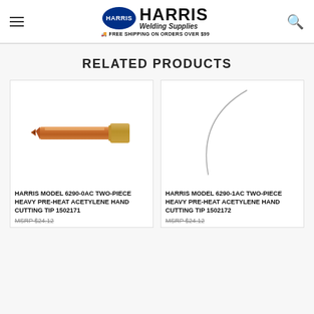Harris Welding Supplies — FREE SHIPPING ON ORDERS OVER $99
RELATED PRODUCTS
[Figure (photo): Harris Model 6290-0AC two-piece heavy pre-heat acetylene hand cutting tip, copper-colored elongated tip with brass fitting]
HARRIS MODEL 6290-0AC TWO-PIECE HEAVY PRE-HEAT ACETYLENE HAND CUTTING TIP 1502171
MSRP $24.12
[Figure (photo): Harris Model 6290-1AC two-piece heavy pre-heat acetylene hand cutting tip, showing curved wire/tip element against white background]
HARRIS MODEL 6290-1AC TWO-PIECE HEAVY PRE-HEAT ACETYLENE HAND CUTTING TIP 1502172
MSRP $24.12